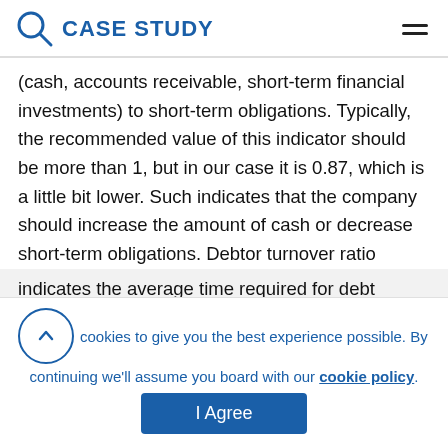CASE STUDY
(cash, accounts receivable, short-term financial investments) to short-term obligations. Typically, the recommended value of this indicator should be more than 1, but in our case it is 0.87, which is a little bit lower. Such indicates that the company should increase the amount of cash or decrease short-term obligations. Debtor turnover ratio indicates the average time required for debt...
We use cookies to give you the best experience possible. By continuing we'll assume you board with our cookie policy.
I Agree